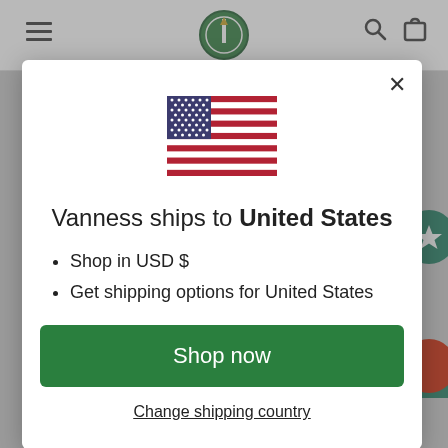[Figure (screenshot): Background of a website with gray overlay, showing top navigation bar with hamburger menu, logo, search and cart icons, and bottom text 'YOU MAY ALSO LIKE']
[Figure (illustration): US flag emoji/icon centered at top of modal]
Vanness ships to United States
Shop in USD $
Get shipping options for United States
Shop now
Change shipping country